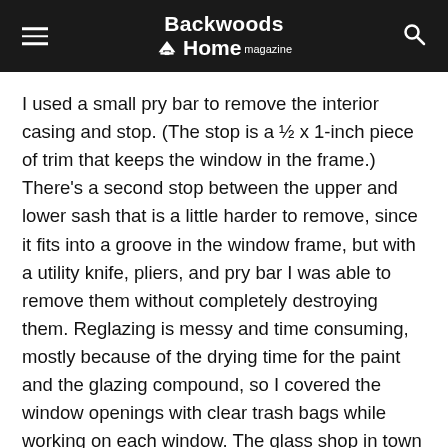Backwoods Home magazine
I used a small pry bar to remove the interior casing and stop. (The stop is a ½ x 1-inch piece of trim that keeps the window in the frame.) There's a second stop between the upper and lower sash that is a little harder to remove, since it fits into a groove in the window frame, but with a utility knife, pliers, and pry bar I was able to remove them without completely destroying them. Reglazing is messy and time consuming, mostly because of the drying time for the paint and the glazing compound, so I covered the window openings with clear trash bags while working on each window. The glass shop in town is much faster and more efficient than I am, and their prices are reasonable, so I'll probably take the rest of the windows to them to complete.

We also built makeshift storm windows. They're nothing